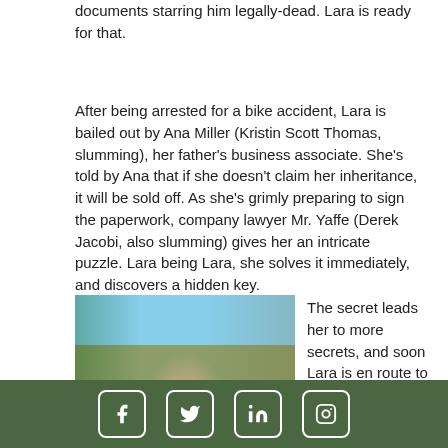documents starring him legally-dead. Lara is ready for that.
After being arrested for a bike accident, Lara is bailed out by Ana Miller (Kristin Scott Thomas, slumming), her father's business associate. She's told by Ana that if she doesn't claim her inheritance, it will be sold off. As she's grimly preparing to sign the paperwork, company lawyer Mr. Yaffe (Derek Jacobi, also slumming) gives her an intricate puzzle. Lara being Lara, she solves it immediately, and discovers a hidden key.
[Figure (photo): A bearded man in a light-colored shirt standing in front of tents or tarps in an outdoor setting, possibly a camp or market.]
The secret leads her to more secrets, and soon Lara is en route to a
Facebook Twitter LinkedIn Instagram